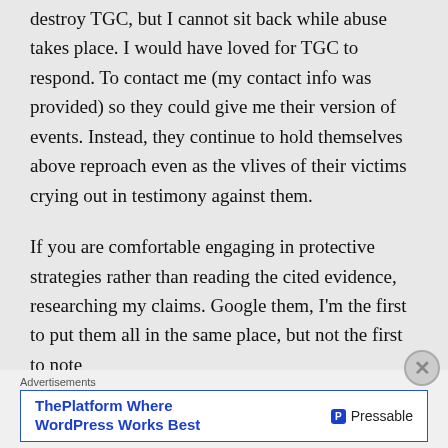destroy TGC, but I cannot sit back while abuse takes place. I would have loved for TGC to respond. To contact me (my contact info was provided) so they could give me their version of events. Instead, they continue to hold themselves above reproach even as the vlives of their victims crying out in testimony against them.

If you are comfortable engaging in protective strategies rather than reading the cited evidence, researching my claims. Google them, I'm the first to put them all in the same place, but not the first to note
Advertisements
[Figure (screenshot): Advertisement banner: 'ThePlatform Where WordPress Works Best' with Pressable logo]